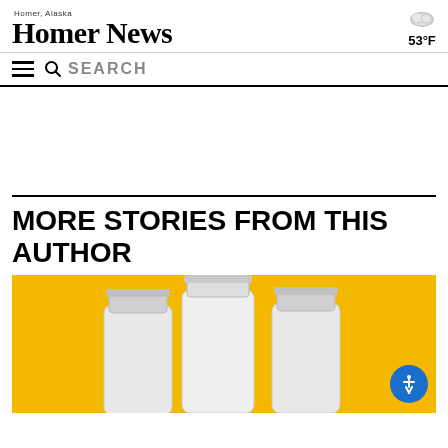Homer News — Homer, Alaska — 53°F
MORE STORIES FROM THIS AUTHOR
[Figure (photo): Three white supplement/medication bottles on a yellow background]